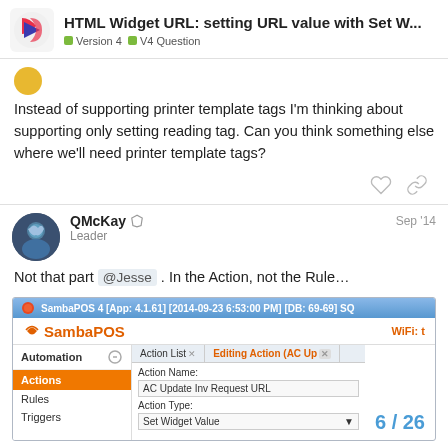HTML Widget URL: setting URL value with Set W... | Version 4 | V4 Question
Instead of supporting printer template tags I'm thinking about supporting only setting reading tag. Can you think something else where we'll need printer template tags?
QMcKay Leader Sep '14
Not that part @Jesse . In the Action, not the Rule…
[Figure (screenshot): SambaPOS 4 application screenshot showing Automation > Actions panel with 'Editing Action (AC Up...' tab open, Action Name: AC Update Inv Request URL, Action Type: Set Widget Value. Page number 6/26 shown.]